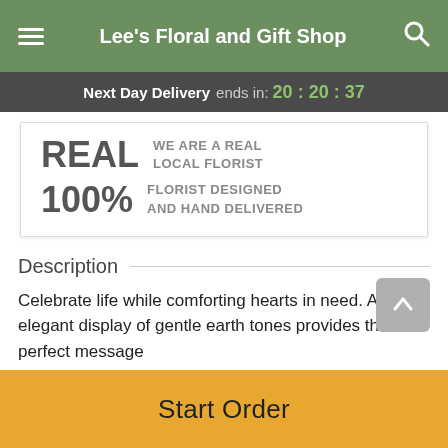Lee's Floral and Gift Shop
Next Day Delivery ends in: 20 : 20 : 37
REAL WE ARE A REAL LOCAL FLORIST
100% FLORIST DESIGNED AND HAND DELIVERED
Description
Celebrate life while comforting hearts in need. An elegant display of gentle earth tones provides the perfect message of...
Start Order